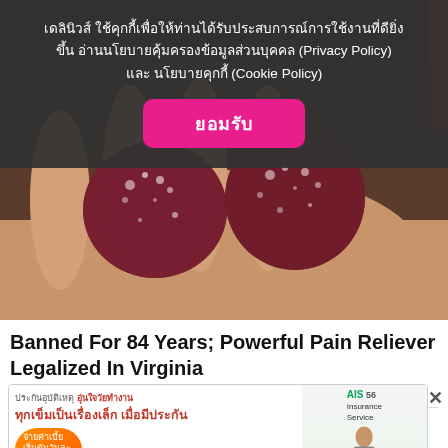[Figure (screenshot): Hero image showing sugary gummy candy pieces held in a hand, dark red/maroon colored with sugar crystals on the surface]
เดลินิวส์ ใช้คุกกี้เพื่อให้ท่านได้รับประสบการณ์การใช้งานที่ดียิ่งขึ้น อ่านนโยบายคุ้มครองข้อมูลส่วนบุคคล (Privacy Policy) และ นโยบายคุกกี้ (Cookie Policy)
ยอมรับ
Banned For 84 Years; Powerful Pain Reliever Legalized In Virginia
Health Headlines | Sponsored
[Figure (screenshot): Thai insurance advertisement banner for AIS 56 Insurance Service showing accident insurance offer, orange circular badge with '4 baht per day' starting price, and a smiling woman]